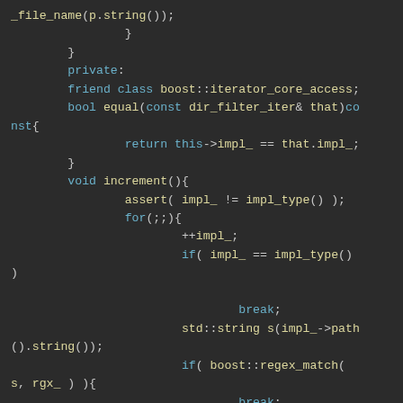[Figure (screenshot): Code snippet in a dark IDE theme showing C++ class methods: file_name call, closing braces, private section with friend class boost::iterator_core_access, bool equal method, void increment method with assert, for loop, ++impl_, if checks with boost::regex_match, and break statements.]